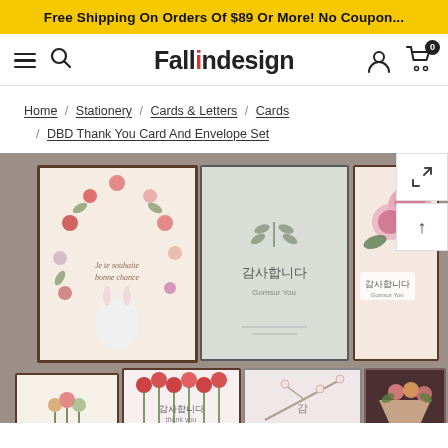Free Shipping On Orders Of $89 Or More! No Coupon...
[Figure (screenshot): Fallindesign website navigation bar with hamburger menu, search icon, logo, user account icon, and cart icon with 0 badge]
Home / Stationery / Cards & Letters / Cards / DBD Thank You Card And Envelope Set
[Figure (photo): Product photo showing 7 Korean thank you cards with floral designs on a taupe/brown background. Top row: 3 cards - one with rabbit and floral wreath, one with minimalist leaf design, one with pink peonies. Bottom row: 4 cards partially visible - one with flower bouquet, one with red carnations, one with branch design, one with wrapped flower bouquet.]